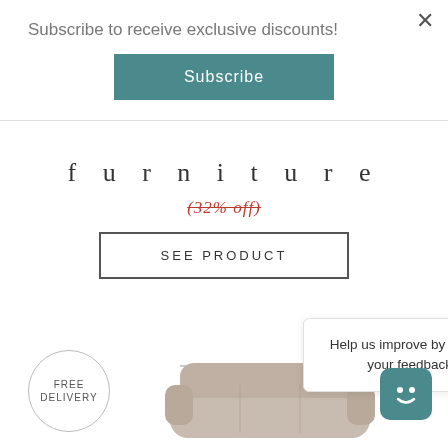Subscribe to receive exclusive discounts!
Subscribe
furniture
(32% off)
SEE PRODUCT
FREE DELIVERY
Help us improve by sharing your feedback.
[Figure (photo): Partial view of a beige/taupe upholstered sofa or chair at the bottom of the page]
[Figure (illustration): Chatbot icon with smiley face in teal square]